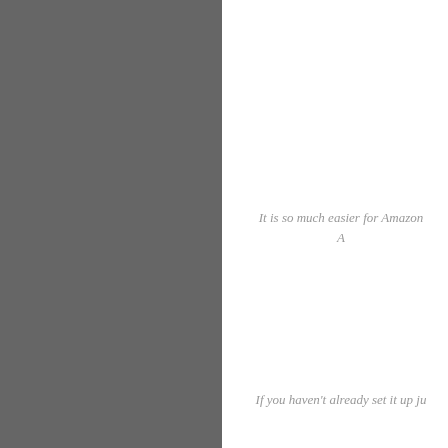[Figure (other): Gray rectangular panel occupying the left half of the page]
It is so much easier for Amazon A
If you haven't already set it up ju